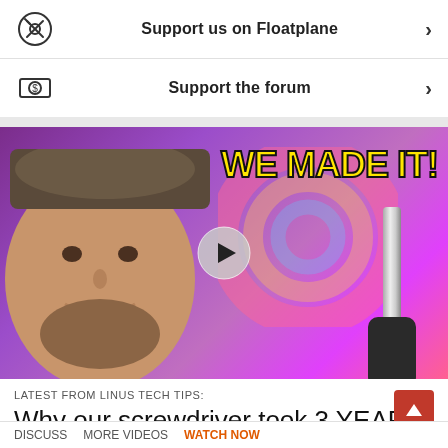Support us on Floatplane >
Support the forum >
[Figure (photo): Video thumbnail showing a smiling bearded man wearing a cap, with purple background, rainbow circle logo, a screwdriver, and bold yellow text 'WE MADE IT!' with a play button overlay]
LATEST FROM LINUS TECH TIPS:
Why our screwdriver took 3 YEARS
DISCUSS   MORE VIDEOS   WATCH NOW